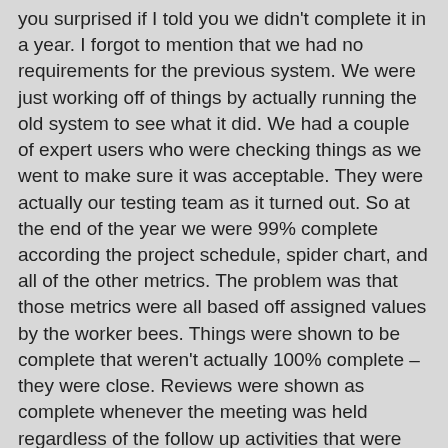you surprised if I told you we didn't complete it in a year. I forgot to mention that we had no requirements for the previous system. We were just working off of things by actually running the old system to see what it did. We had a couple of expert users who were checking things as we went to make sure it was acceptable. They were actually our testing team as it turned out. So at the end of the year we were 99% complete according the project schedule, spider chart, and all of the other metrics. The problem was that those metrics were all based off assigned values by the worker bees. Things were shown to be complete that weren't actually 100% complete – they were close. Reviews were shown as complete whenever the meeting was held regardless of the follow up activities that were required. So everything looked great on paper. We all knew that wasn't true. The ship had hit the iceberg.
Another year went by and we worked very hard. We were told to work harder and work smarter. But no overtime. Just get the job finished. We all worked hard. We ran into all kinds of issues with the new hardware. The issues kept bubbling to the surface but no one was really in charge of addressing the